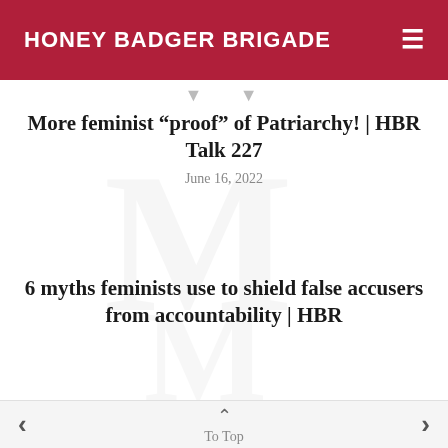HONEY BADGER BRIGADE
More feminist “proof” of Patriarchy! | HBR Talk 227
June 16, 2022
6 myths feminists use to shield false accusers from accountability | HBR
To Top